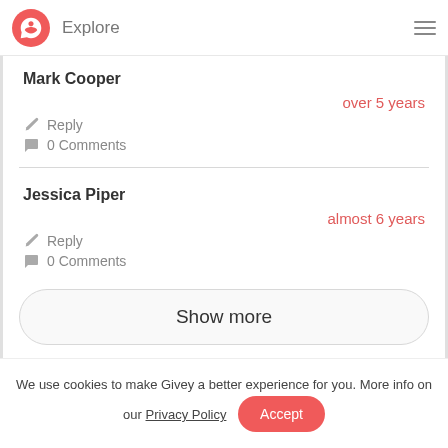Explore
Mark Cooper
over 5 years
Reply
0 Comments
Jessica Piper
almost 6 years
Reply
0 Comments
Show more
We use cookies to make Givey a better experience for you. More info on our Privacy Policy
Accept